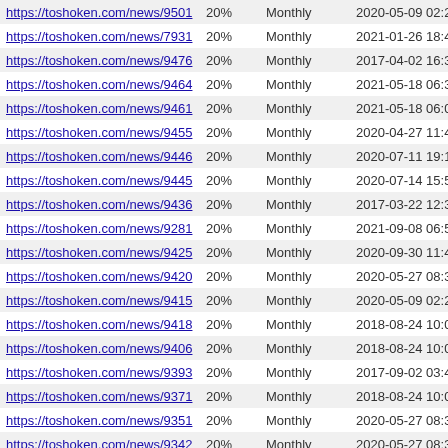| URL | Priority | Change Frequency | Last Modified |
| --- | --- | --- | --- |
| https://toshoken.com/news/9501 | 20% | Monthly | 2020-05-09 02:24 |
| https://toshoken.com/news/7931 | 20% | Monthly | 2021-01-26 18:42 |
| https://toshoken.com/news/9476 | 20% | Monthly | 2017-04-02 16:30 |
| https://toshoken.com/news/9464 | 20% | Monthly | 2021-05-18 06:38 |
| https://toshoken.com/news/9461 | 20% | Monthly | 2021-05-18 06:03 |
| https://toshoken.com/news/9455 | 20% | Monthly | 2020-04-27 11:40 |
| https://toshoken.com/news/9446 | 20% | Monthly | 2020-07-11 19:19 |
| https://toshoken.com/news/9445 | 20% | Monthly | 2020-07-14 15:58 |
| https://toshoken.com/news/9436 | 20% | Monthly | 2017-03-22 12:33 |
| https://toshoken.com/news/9281 | 20% | Monthly | 2021-09-08 06:53 |
| https://toshoken.com/news/9425 | 20% | Monthly | 2020-09-30 11:47 |
| https://toshoken.com/news/9420 | 20% | Monthly | 2020-05-27 08:35 |
| https://toshoken.com/news/9415 | 20% | Monthly | 2020-05-09 02:25 |
| https://toshoken.com/news/9418 | 20% | Monthly | 2018-08-24 10:06 |
| https://toshoken.com/news/9406 | 20% | Monthly | 2018-08-24 10:05 |
| https://toshoken.com/news/9393 | 20% | Monthly | 2017-09-02 03:43 |
| https://toshoken.com/news/9371 | 20% | Monthly | 2018-08-24 10:05 |
| https://toshoken.com/news/9351 | 20% | Monthly | 2020-05-27 08:30 |
| https://toshoken.com/news/9342 | 20% | Monthly | 2020-05-27 08:31 |